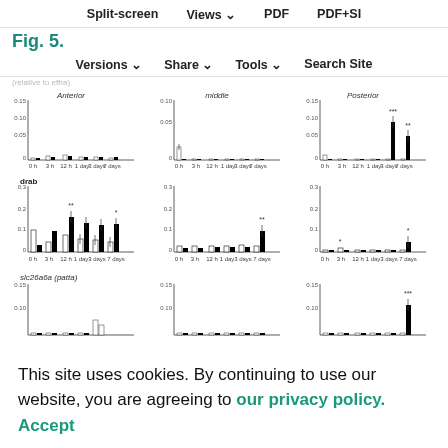Split-screen  Views  PDF  PDF+SI
Fig. 5.
Versions  Share  Tools  Search Site
Anterior  Posterior  (relative to effra)
[Figure (bar-chart): Anterior]
[Figure (bar-chart): middle]
[Figure (bar-chart): Posterior]
[Figure (bar-chart): drab]
[Figure (bar-chart): ]
[Figure (bar-chart): ]
[Figure (bar-chart): slc26a6a (patta)]
[Figure (bar-chart): ]
[Figure (bar-chart): ]
This site uses cookies. By continuing to use our website, you are agreeing to our privacy policy.
Accept